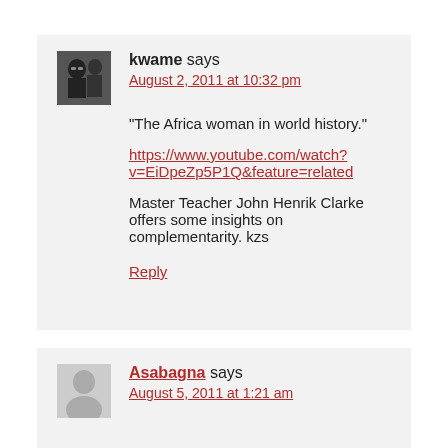kwame says
August 2, 2011 at 10:32 pm
[Figure (photo): Black and white photo of two people]
“The Africa woman in world history.”
https://www.youtube.com/watch?v=EiDpeZp5P1Q&feature=related
Master Teacher John Henrik Clarke offers some insights on complementarity. kzs
Reply
[Figure (illustration): Grey silhouette avatar of a person]
Asabagna says
August 5, 2011 at 1:21 am